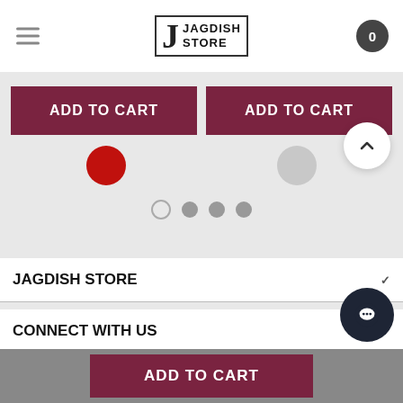Jagdish Store
[Figure (screenshot): Two ADD TO CART buttons side by side in dark maroon color]
[Figure (illustration): Color swatch dots: one large red circle on left, one large light gray circle on right]
[Figure (illustration): Carousel indicator dots: one empty circle, three filled gray circles]
JAGDISH STORE
CONNECT WITH US
[Figure (illustration): ADD TO CART button in dark maroon at bottom sticky bar]